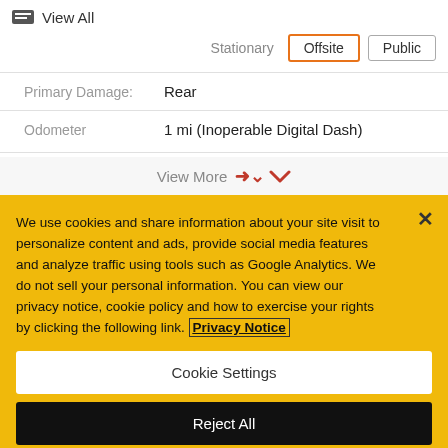View All
Stationary  Offsite  Public
Primary Damage:  Rear
Odometer  1 mi (Inoperable Digital Dash)
View More
We use cookies and share information about your site visit to personalize content and ads, provide social media features and analyze traffic using tools such as Google Analytics. We do not sell your personal information. You can view our privacy notice, cookie policy and how to exercise your rights by clicking the following link. Privacy Notice
Cookie Settings
Reject All
Accept Cookies